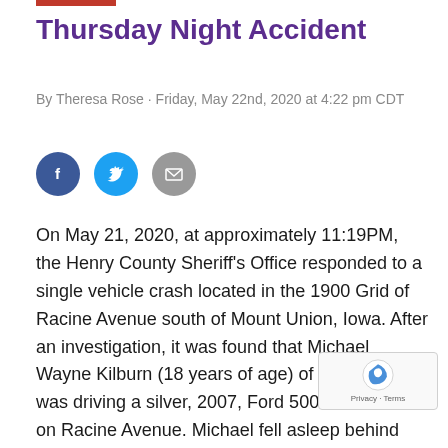Thursday Night Accident
By Theresa Rose · Friday, May 22nd, 2020 at 4:22 pm CDT
[Figure (illustration): Social media share icons: Facebook (dark blue circle with f), Twitter (light blue circle with bird), Email (grey circle with envelope)]
On May 21, 2020, at approximately 11:19PM, the Henry County Sheriff's Office responded to a single vehicle crash located in the 1900 Grid of Racine Avenue south of Mount Union, Iowa. After an investigation, it was found that Michael Wayne Kilburn (18 years of age) of Mount Union, was driving a silver, 2007, Ford 500 southbound on Racine Avenue. Michael fell asleep behind the wheel when he was driving by the Trinity Cemetery located on the east side of the roadway. After Michael fell asleep, his vehicle traveled across the northbound lane of traffic and